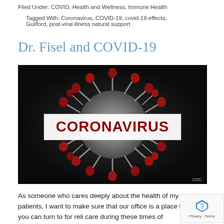Filed Under: COVID, Health and Wellness, Immune Health
Tagged With: Coronavirus, COVID-19, covid-19 effects, Guilford, post-viral illness natural support
Dr. Fisel and COVID-19
[Figure (photo): CDC coronavirus illustration showing a red and grey spiked virus particle on dark background with a white banner reading CORONAVIRUS in bold dark red letters. CDC watermark in bottom right corner.]
As someone who cares deeply about the health of my patients, I want to make sure that our office is a place that you can turn to for reli- care during these times of uncertainty.